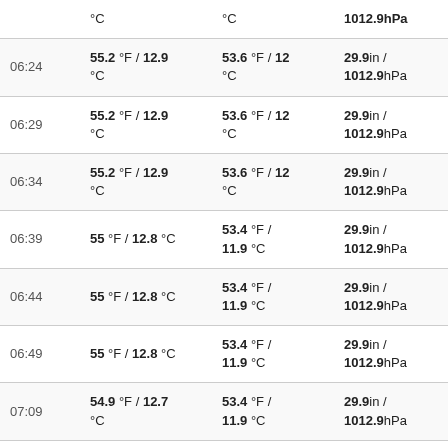| Time | Temp | Dew Point | Pressure | Wind |
| --- | --- | --- | --- | --- |
|  | °C | °C | 1012.9hPa |  |
| 06:24 | 55.2 °F / 12.9 °C | 53.6 °F / 12 °C | 29.9in / 1012.9hPa | WNW |
| 06:29 | 55.2 °F / 12.9 °C | 53.6 °F / 12 °C | 29.9in / 1012.9hPa | Calm |
| 06:34 | 55.2 °F / 12.9 °C | 53.6 °F / 12 °C | 29.9in / 1012.9hPa | Calm |
| 06:39 | 55 °F / 12.8 °C | 53.4 °F / 11.9 °C | 29.9in / 1012.9hPa | Calm |
| 06:44 | 55 °F / 12.8 °C | 53.4 °F / 11.9 °C | 29.9in / 1012.9hPa | Calm |
| 06:49 | 55 °F / 12.8 °C | 53.4 °F / 11.9 °C | 29.9in / 1012.9hPa | Calm |
| 07:09 | 54.9 °F / 12.7 °C | 53.4 °F / 11.9 °C | 29.9in / 1012.9hPa | Calm |
| 07:15 | 54.9 °F / 12.7 °C | 53.4 °F / 11.9 °C | 29.9in / 1012.9hPa | Calm |
| 07:20 | 54.9 °F / 12.7 | 53.4 °F / | 29.9in / | Calm |